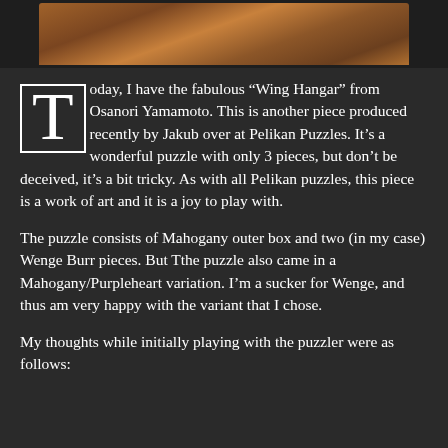[Figure (photo): Top portion of a wooden puzzle box photo, showing wood grain in brown/orange tones against a dark background]
Today, I have the fabulous “Wing Hangar” from Osanori Yamamoto. This is another piece produced recently by Jakub over at Pelikan Puzzles. It's a wonderful puzzle with only 3 pieces, but don't be deceived, it's a bit tricky. As with all Pelikan puzzles, this piece is a work of art and it is a joy to play with.
The puzzle consists of Mahogany outer box and two (in my case) Wenge Burr pieces. But Tthe puzzle also came in a Mahogany/Purpleheart variation. I’m a sucker for Wenge, and thus am very happy with the variant that I chose.
My thoughts while initially playing with the puzzler were as follows: